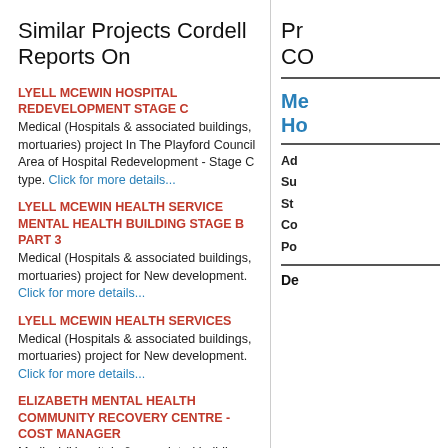Similar Projects Cordell Reports On
LYELL MCEWIN HOSPITAL REDEVELOPMENT STAGE C
Medical (Hospitals & associated buildings, mortuaries) project In The Playford Council Area of Hospital Redevelopment - Stage C type. Click for more details...
LYELL MCEWIN HEALTH SERVICE MENTAL HEALTH BUILDING STAGE B PART 3
Medical (Hospitals & associated buildings, mortuaries) project for New development. Click for more details...
LYELL MCEWIN HEALTH SERVICES
Medical (Hospitals & associated buildings, mortuaries) project for New development. Click for more details...
ELIZABETH MENTAL HEALTH COMMUNITY RECOVERY CENTRE - COST MANAGER
Medical (Hospitals & associated buildings, mortuaries) project at Within Lyell McEwin Health Service grounds Haydown Rd, Elizabeth Vale, SA 5112 for New. Click for more details...
LYELL MCEWIN HEALTH SERVICES
A project in the SA Within Playford. Click for more details...
LYELL MCEWIN HEALTH SERVICES
Medical (Hospitals & associated buildings, mortuaries) project In The Playford Council Area of Trade Package For Carpenter (General) - Hospital - Redev - Single & 2 Storey type. Click for more details...
Pr CO
Me Ho
Ad Su St Co Po
De